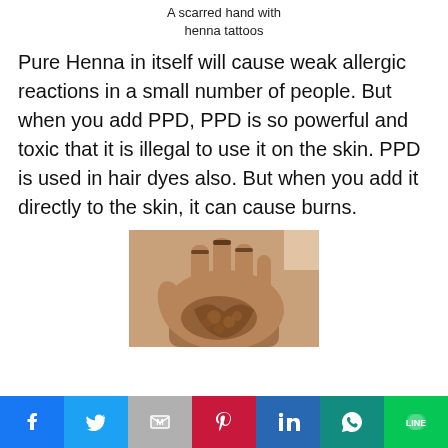A scarred hand with henna tattoos
Pure Henna in itself will cause weak allergic reactions in a small number of people. But when you add PPD, PPD is so powerful and toxic that it is illegal to use it on the skin. PPD is used in hair dyes also. But when you add it directly to the skin, it can cause burns.
[Figure (photo): A dark-skinned hand shown palm-forward with dark henna tattoo patterns visible on the fingers and palm, with raised scarring or burns on the palm area]
Social share buttons: Facebook, Twitter, Gmail, Pinterest, LinkedIn, WhatsApp, LINE